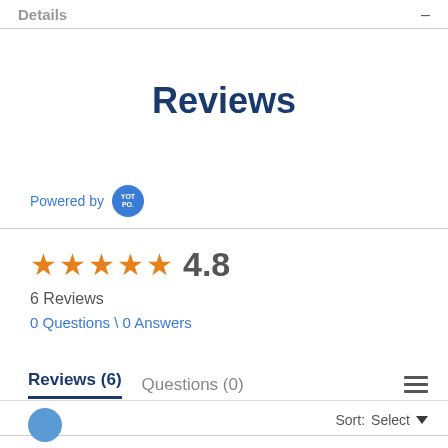Details
Reviews
Powered by YOTPO
★★★★★ 4.8
6 Reviews
0 Questions \ 0 Answers
Reviews (6)   Questions (0)
Sort: Select